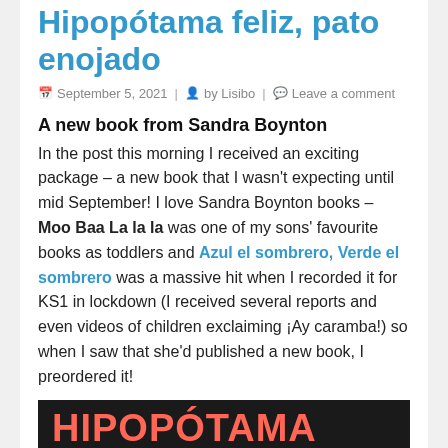Hipopótama feliz, pato enojado
September 5, 2021 | by Lisibo | Leave a comment
A new book from Sandra Boynton
In the post this morning I received an exciting package – a new book that I wasn't expecting until mid September! I love Sandra Boynton books – Moo Baa La la la was one of my sons' favourite books as toddlers and Azul el sombrero, Verde el sombrero was a massive hit when I recorded it for KS1 in lockdown (I received several reports and even videos of children exclaiming ¡Ay caramba!) so when I saw that she'd published a new book, I preordered it!
[Figure (photo): Dark background image showing text 'HIPOPÓTAMA FELIZ,' in large pink/red letters]